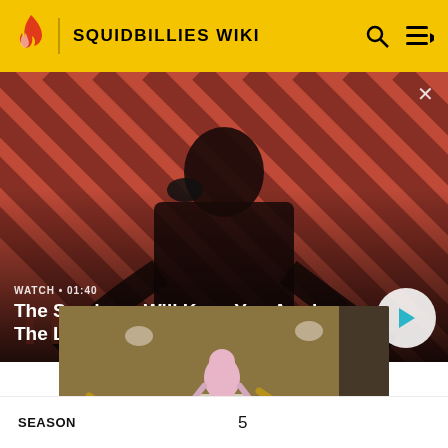SQUIDBILLIES WIKI
[Figure (screenshot): Video banner for 'The Sandman Will Keep You Awake - The Loop', showing a pale man in black with a raven on his shoulder against a red and black diagonal striped background. Duration shown as 01:40.]
The Sandman Will Keep You Awake - The Loop
[Figure (screenshot): Thumbnail image from Squidbillies animated show showing cartoon characters on a brown background with scattered objects.]
| SEASON |  |
| --- | --- |
| SEASON | 5 |